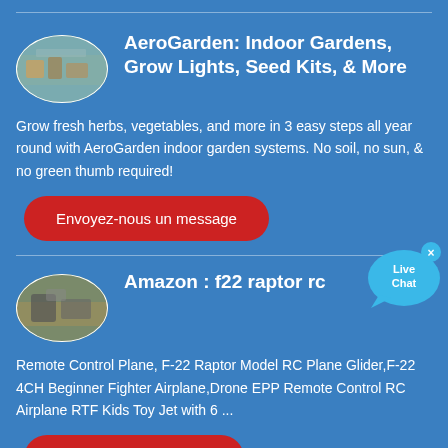[Figure (illustration): Oval thumbnail image of a garden/landscape scene]
AeroGarden: Indoor Gardens, Grow Lights, Seed Kits, & More
Grow fresh herbs, vegetables, and more in 3 easy steps all year round with AeroGarden indoor garden systems. No soil, no sun, & no green thumb required!
[Figure (illustration): Live Chat bubble icon with text 'Live Chat' and close button]
Envoyez-nous un message
[Figure (illustration): Oval thumbnail image of an outdoor/military scene]
Amazon : f22 raptor rc
Remote Control Plane, F-22 Raptor Model RC Plane Glider,F-22 4CH Beginner Fighter Airplane,Drone EPP Remote Control RC Airplane RTF Kids Toy Jet with 6 ...